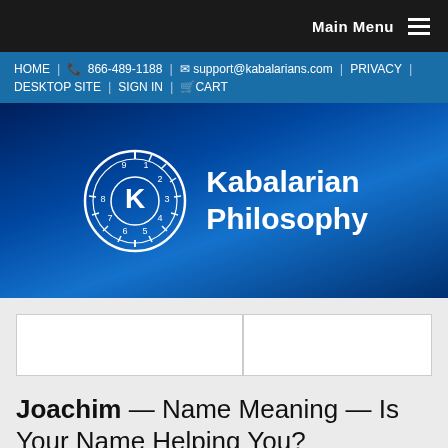Main Menu
HOME | 866-489-1188 | support@kabalarians.com | PRIVACY | DESKTOP SITE | SIGN IN | CART
[Figure (logo): Kabalarian Philosophy logo with clock wheel showing numbers 1-9 and letter K in center, with text 'Kabalarian Philosophy']
[Figure (other): Search input box with two sections separated by a vertical divider]
Joachim — Name Meaning — Is Your Name Helping You?